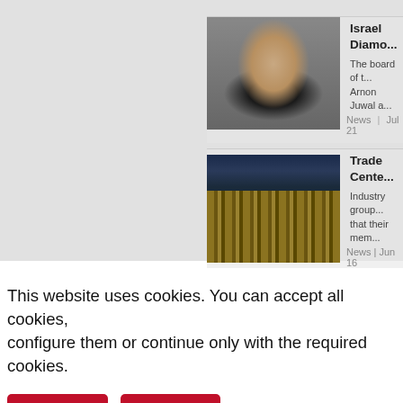[Figure (photo): Headshot of a man in a dark suit, partially visible, associated with Israel Diamond news article]
Israel Diamo...
The board of t... Arnon Juwal a...
News | Jul 21
[Figure (photo): Aerial night/dusk photo of Las Vegas strip with large casino hotel buildings, associated with Trade Center news article]
Trade Cente...
Industry group... that their mem...
News | Jun 16
This website uses cookies. You can accept all cookies, configure them or continue only with the required cookies.
Configure
Accept all
More information